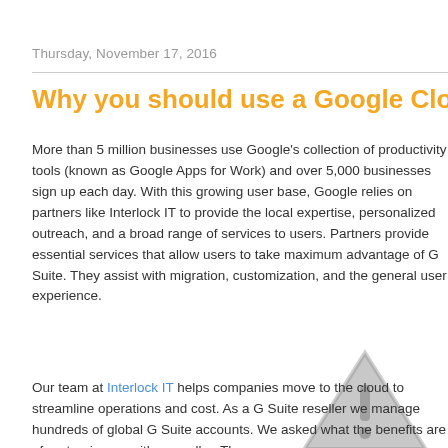Thursday, November 17, 2016
Why you should use a Google Cloud Par
More than 5 million businesses use Google's collection of productivity tools (known as Google Apps for Work) and over 5,000 businesses sign up each day. With this growing user base, Google relies on partners like Interlock IT to provide the local expertise, personalized outreach, and a broad range of services to users. Partners provide essential services that allow users to take maximum advantage of G Suite. They assist with migration, customization, and the general user experience.
[Figure (illustration): Warning triangle icon with exclamation mark, gray colored]
Our team at Interlock IT helps companies move to the cloud to streamline operations and cost. As a G Suite reseller we manage hundreds of global G Suite accounts. We asked what the benefits are of partnering up with a reseller. There